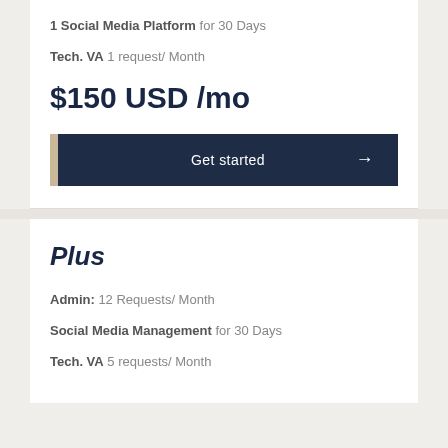1 Social Media Platform for 30 Days
Tech. VA 1 request/ Month
$150 USD /mo
Get started →
Plus
Admin: 12 Requests/ Month
Social Media Management for 30 Days
Tech. VA 5 requests/ Month